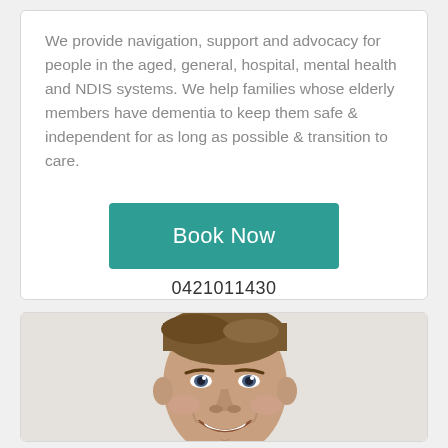We provide navigation, support and advocacy for people in the aged, general, hospital, mental health and NDIS systems. We help families whose elderly members have dementia to keep them safe & independent for as long as possible & transition to care.
Book Now
0421011430
[Figure (photo): A smiling man with short brown hair, wearing a plaid shirt, photographed against a light grey background. The photo is cropped to show his head and upper shoulders.]